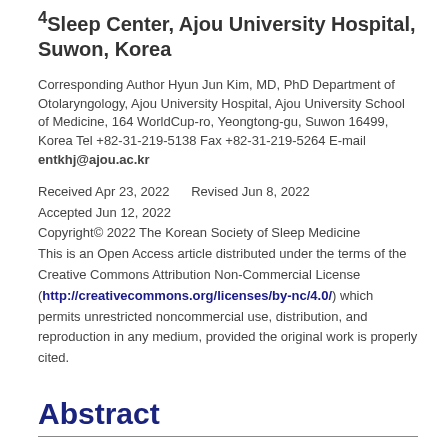⁴Sleep Center, Ajou University Hospital, Suwon, Korea
Corresponding Author Hyun Jun Kim, MD, PhD Department of Otolaryngology, Ajou University Hospital, Ajou University School of Medicine, 164 WorldCup-ro, Yeongtong-gu, Suwon 16499, Korea Tel +82-31-219-5138 Fax +82-31-219-5264 E-mail entkhj@ajou.ac.kr
Received Apr 23, 2022   Revised Jun 8, 2022
Accepted Jun 12, 2022
Copyright© 2022 The Korean Society of Sleep Medicine
This is an Open Access article distributed under the terms of the Creative Commons Attribution Non-Commercial License (http://creativecommons.org/licenses/by-nc/4.0/) which permits unrestricted noncommercial use, distribution, and reproduction in any medium, provided the original work is properly cited.
Abstract